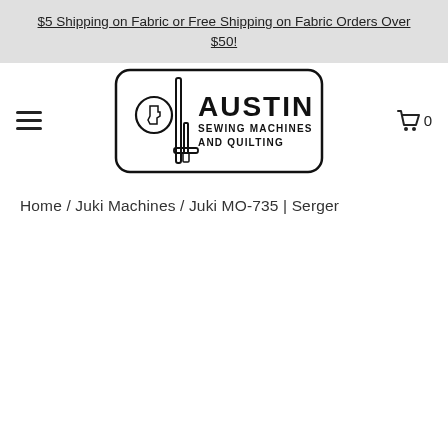$5 Shipping on Fabric or Free Shipping on Fabric Orders Over $50!
[Figure (logo): Austin Sewing Machines and Quilting logo — sewing machine icon with Texas state outline and brand name]
Home / Juki Machines / Juki MO-735 | Serger